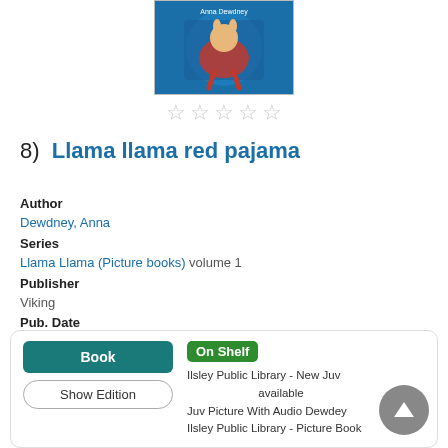[Figure (illustration): Book cover for Llama Llama Red Pajama by Anna Dewdney showing a llama character in red pajamas with blue background]
★★★★★ (empty stars rating)
8)  Llama llama red pajama
Author
Dewdney, Anna
Series
Llama Llama (Picture books) volume 1
Publisher
Viking
Pub. Date
2005.
Physical Desc
1 volume (unpaged) : color illustrations ; 27 cm.
Language
English
Book | Show Edition | On Shelf | Ilsley Public Library - New Juv available | Juv Picture With Audio Dewdey | Ilsley Public Library - Picture Book